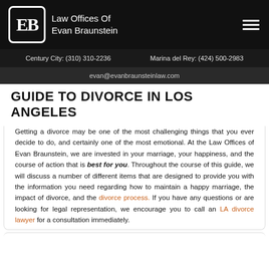Law Offices Of Evan Braunstein
Century City: (310) 310-2236   Marina del Rey: (424) 500-2983
evan@evanbraunsteinlaw.com
GUIDE TO DIVORCE IN LOS ANGELES
Getting a divorce may be one of the most challenging things that you ever decide to do, and certainly one of the most emotional. At the Law Offices of Evan Braunstein, we are invested in your marriage, your happiness, and the course of action that is best for you. Throughout the course of this guide, we will discuss a number of different items that are designed to provide you with the information you need regarding how to maintain a happy marriage, the impact of divorce, and the divorce process. If you have any questions or are looking for legal representation, we encourage you to call an LA divorce lawyer for a consultation immediately.